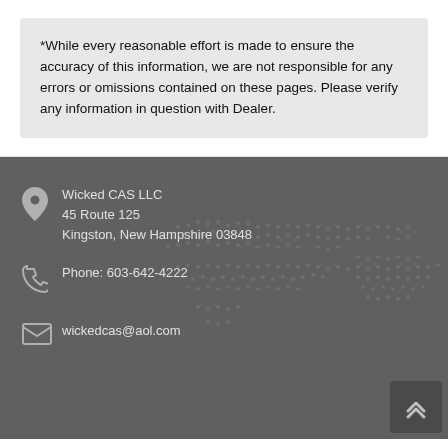*While every reasonable effort is made to ensure the accuracy of this information, we are not responsible for any errors or omissions contained on these pages. Please verify any information in question with Dealer.
Wicked CAS LLC
45 Route 125
Kingston, New Hampshire 03848
Phone: 603-642-4222
wickedcas@aol.com